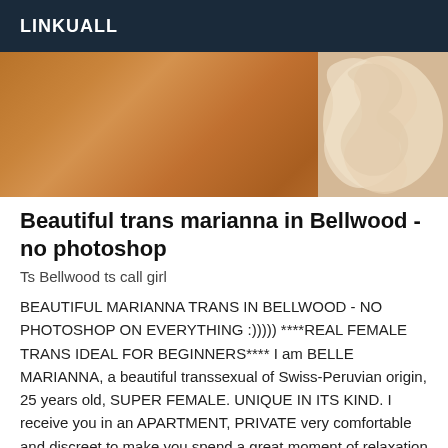LINKUALL
[Figure (photo): Hardwood floor with a decorative carved ornamental piece in the upper right corner]
Beautiful trans marianna in Bellwood - no photoshop
Ts Bellwood ts call girl
BEAUTIFUL MARIANNA TRANS IN BELLWOOD - NO PHOTOSHOP ON EVERYTHING :))))) ****REAL FEMALE TRANS IDEAL FOR BEGINNERS**** I am BELLE MARIANNA, a beautiful transsexual of Swiss-Peruvian origin, 25 years old, SUPER FEMALE. UNIQUE IN ITS KIND. I receive you in an APARTMENT, PRIVATE very comfortable and discreet to make you spend a great moment of relaxation massage we arrive at the total relax. I SPEAK VERY GOOD AMERICAN =) I